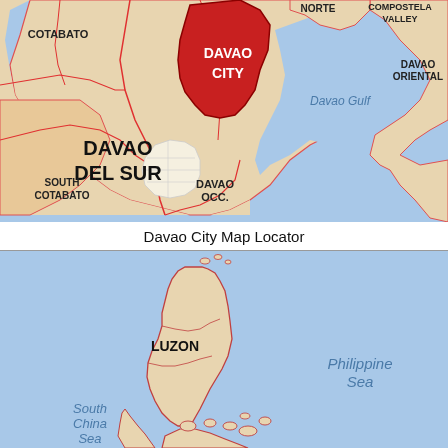[Figure (map): Davao City Map Locator showing Davao City (highlighted in red/dark pink) within the Davao region of the Philippines, surrounded by Cotabato, South Cotabato, Davao Del Sur, Davao Occ., Davao Oriental, Davao Gulf, Compostela Valley, and Davao Norte.]
Davao City Map Locator
[Figure (map): Map of the Philippines showing Luzon island, South China Sea to the west, and Philippine Sea to the east, with Mindanao visible at bottom.]